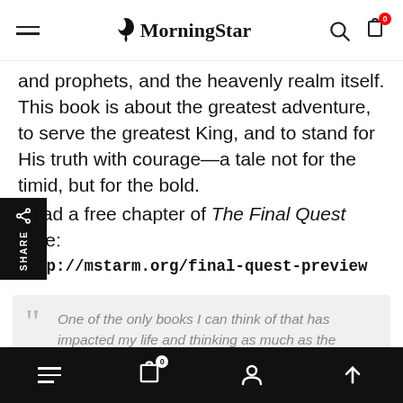MorningStar
and prophets, and the heavenly realm itself. This book is about the greatest adventure, to serve the greatest King, and to stand for His truth with courage—a tale not for the timid, but for the bold.
Read a free chapter of The Final Quest here:
http://mstarm.org/final-quest-preview
One of the only books I can think of that has impacted my life and thinking as much as the Bible. —Goodreads Reviewer
Bottom navigation bar